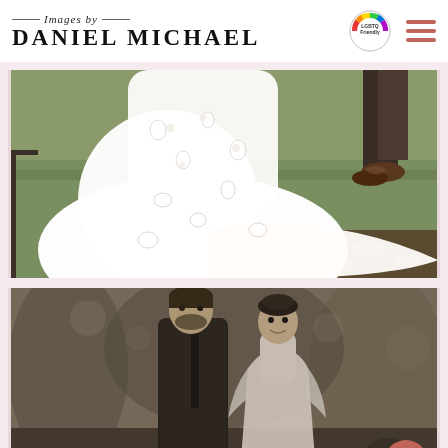Images by DANIEL MICHAEL
[Figure (photo): Wedding dress photo showing the lower portion of a white floral lace ball gown with a long train spread on grass, with another person's legs in dark trousers and brown shoes visible in the background. Watermark text 'Images by DANIEL MICHAEL' appears at bottom.]
[Figure (photo): Black and white photo of a bride and groom in a wooded outdoor setting. The groom in a dark suit and tie looks at the bride, who is smiling and wearing a white dress with lace sleeves.]